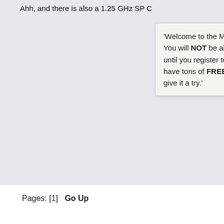Ahh, and there is also a 1.25 GHz SP C...
'Welcome to the Mac OS 9 Lives! Forum You will NOT be able to download our files until you register to become a member. We have tons of FREE stuff waiting for you, do give it a try.'
... and it is an 820-1497-A  02002. The
peeperpc likes this
Pages: [1]   Go Up
Mac OS 9 Lives! (Classic Mac OS Forum) » Classic Mac Hardware (Troubles... Mac CPU Upgrades » 1.42 GHz MDD CPU to 867 MHz MDD / swap
10 Post Recent Posts
Sonnet Encore ST G4 1400/2M in a Sawtooth / Apple CPU Plugins... [Mac CPU Upgrades]
Quicksilver 1 GHz DP CPU? [Community Marketplace]